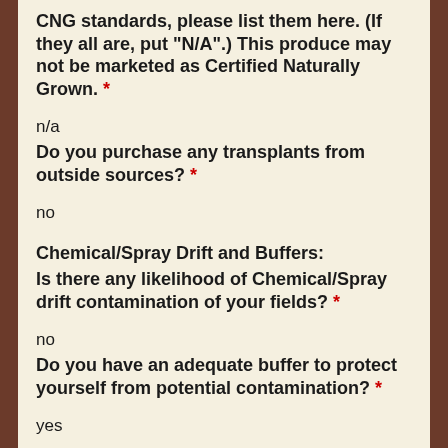CNG standards, please list them here. (If they all are, put "N/A".) This produce may not be marketed as Certified Naturally Grown. * n/a
Do you purchase any transplants from outside sources? * no
Chemical/Spray Drift and Buffers:
Is there any likelihood of Chemical/Spray drift contamination of your fields? * no
Do you have an adequate buffer to protect yourself from potential contamination? * yes